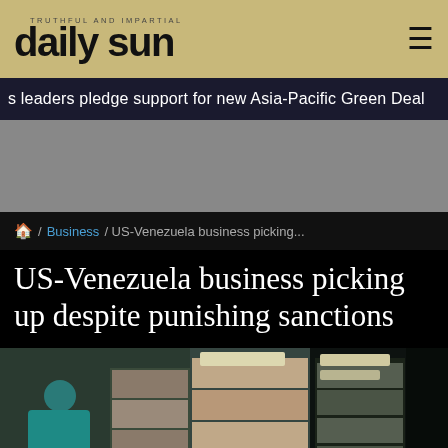daily sun
s leaders pledge support for new Asia-Pacific Green Deal   World re...
[Figure (other): Gray advertisement placeholder area]
🏠 / Business / US-Venezuela business picking...
US-Venezuela business picking up despite punishing sanctions
[Figure (photo): Photo of a grocery/convenience store interior with a person in a teal shirt browsing shelves stocked with bags and packaged goods, with overhead lighting visible]